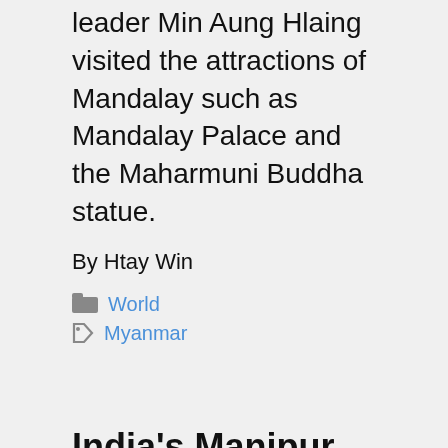leader Min Aung Hlaing visited the attractions of Mandalay such as Mandalay Palace and the Maharmuni Buddha statue.
By Htay Win
World
Myanmar
India's Manipur security forces expel IDPs from Myanmar